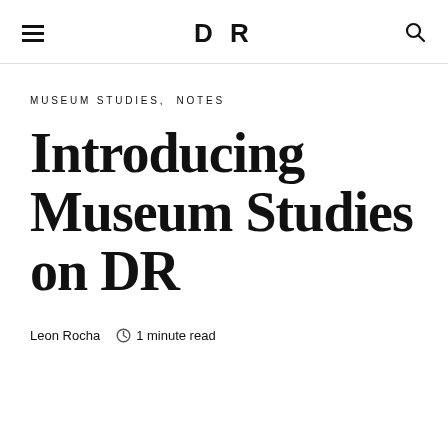DR
MUSEUM STUDIES,  NOTES
Introducing Museum Studies on DR
Leon Rocha   1 minute read